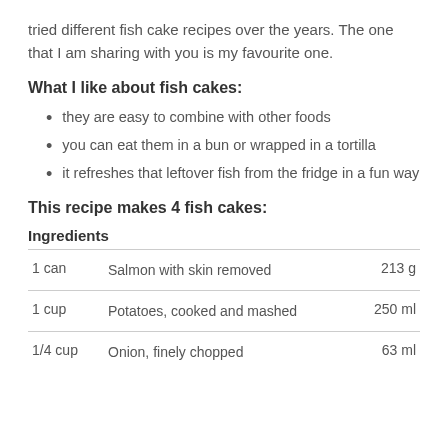tried different fish cake recipes over the years. The one that I am sharing with you is my favourite one.
What I like about fish cakes:
they are easy to combine with other foods
you can eat them in a bun or wrapped in a tortilla
it refreshes that leftover fish from the fridge in a fun way
This recipe makes 4 fish cakes:
|  | Ingredients |  |
| --- | --- | --- |
| 1 can | Salmon with skin removed | 213 g |
| 1 cup | Potatoes, cooked and mashed | 250 ml |
| 1/4 cup | Onion, finely chopped | 63 ml |